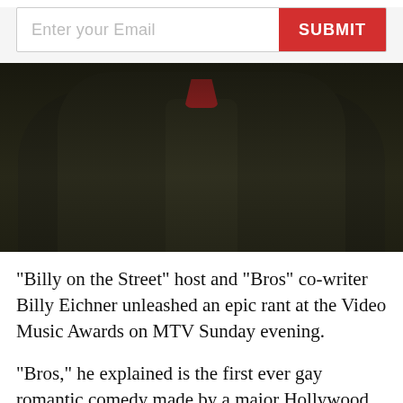Enter your Email
SUBMIT
[Figure (photo): A person wearing dark academic/judicial robes with a red collar or tie visible at the neck, photographed from the chest up against a dark background.]
"Billy on the Street" host and "Bros" co-writer Billy Eichner unleashed an epic rant at the Video Music Awards on MTV Sunday evening.
"Bros," he explained is the first ever gay romantic comedy made by a major Hollywood studio. He asked the audience to come out to see it so that they could show up homophobes everywhere. But there was one "homophobe" he singled out specifically.